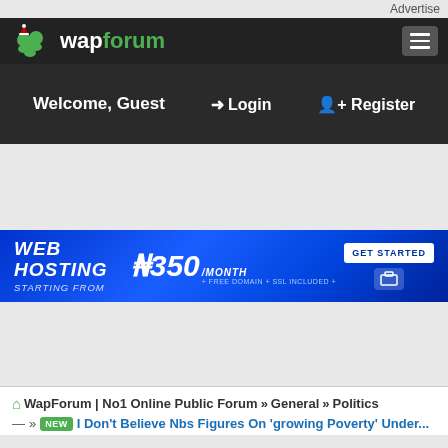Advertise
[Figure (logo): WapForum logo with green people icons and hamburger menu on dark background]
Welcome, Guest  Login  Register
[Figure (infographic): Web Hosting banner: STARTING FROM ₦350/MONTH · FREE DOMAIN + SSL INCLUDED · GET STARTED button]
WapForum | No1 Online Public Forum » General » Politics
NEW I Don't Believe Nbs Figures On 'growing Poverty' Under...